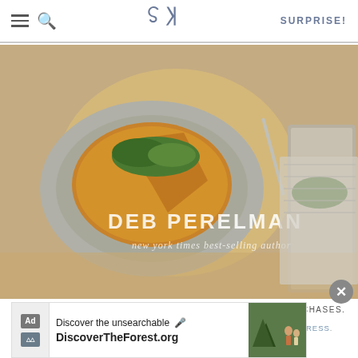SK — SURPRISE!
[Figure (photo): Book cover of Smitten Kitchen cookbook by Deb Perelman, showing a frittata dish on a plate with greens on top. Text on book cover reads 'DEB PERELMAN — new york times best-selling author']
AS AN AMAZON ASSOCIATE I EARN FROM QUALIFYING PURCHASES.
©2009–2022 SMITTEN KITCHEN. PROUDLY POWERED BY WORDPRESS. HOSTED BY PRESSABLE.
[Figure (screenshot): Advertisement banner for DiscoverTheForest.org with text 'Discover the unsearchable' and 'DiscoverTheForest.org', showing people in a forest on the right side. Has a close (X) button.]